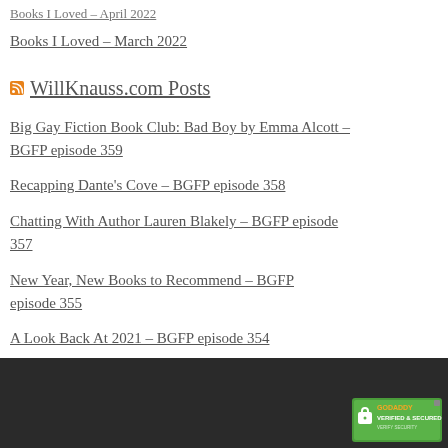Books I Loved – April 2022
WillKnauss.com Posts
Big Gay Fiction Book Club: Bad Boy by Emma Alcott – BGFP episode 359
Recapping Dante's Cove – BGFP episode 358
Chatting With Author Lauren Blakely – BGFP episode 357
New Year, New Books to Recommend – BGFP episode 355
A Look Back At 2021 – BGFP episode 354
[Figure (logo): GoDaddy Verified & Secured badge]